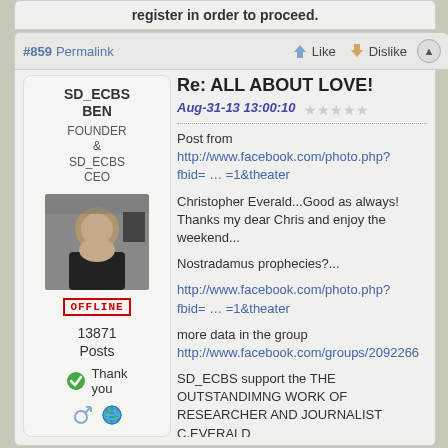register in order to proceed.
#859  Permalink   Like   Dislike
SD_ECBS BEN
FOUNDER & SD_ECBS CEO
[Figure (photo): Profile photo of a man with dark hair in a black shirt]
OFFLINE
13871 Posts
Thank you
Re: ALL ABOUT LOVE!
Aug-31-13 13:00:10
Post from
http://www.facebook.com/photo.php?fbid= … =1&theater
Christopher Everald...Good as always! Thanks my dear Chris and enjoy the weekend...
Nostradamus prophecies?...
http://www.facebook.com/photo.php?fbid= … =1&theater
more data in the group
http://www.facebook.com/groups/2092266
SD_ECBS support the THE OUTSTANDIMNG WORK OF RESEARCHER AND JOURNALIST C.EVERALD
http://www.facebook.com/photo.php?fbid= … =3&theater